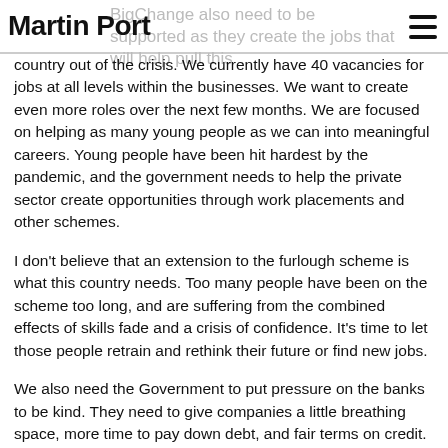Martin Port
country out of the crisis. We currently have 40 vacancies for jobs at all levels within the businesses. We want to create even more roles over the next few months. We are focused on helping as many young people as we can into meaningful careers. Young people have been hit hardest by the pandemic, and the government needs to help the private sector create opportunities through work placements and other schemes.
I don't believe that an extension to the furlough scheme is what this country needs. Too many people have been on the scheme too long, and are suffering from the combined effects of skills fade and a crisis of confidence. It's time to let those people retrain and rethink their future or find new jobs.
We also need the Government to put pressure on the banks to be kind. They need to give companies a little breathing space, more time to pay down debt, and fair terms on credit.
Please don't forget that this is not a crisis on Budget Street it...